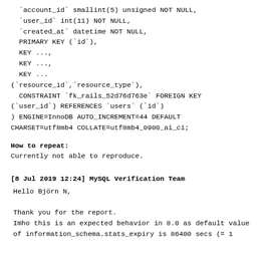`account_id` smallint(5) unsigned NOT NULL,
  `user_id` int(11) NOT NULL,
  `created_at` datetime NOT NULL,
  PRIMARY KEY (`id`),
  KEY ...,
  KEY ...,
  KEY ...
(`resource_id`,`resource_type`),
  CONSTRAINT `fk_rails_52d76d763e` FOREIGN KEY
(`user_id`) REFERENCES `users` (`id`)
) ENGINE=InnoDB AUTO_INCREMENT=44 DEFAULT
CHARSET=utf8mb4 COLLATE=utf8mb4_0900_ai_ci;
How to repeat:
Currently not able to reproduce.
[8 Jul 2019 12:24] MySQL Verification Team
Hello Björn N,

Thank you for the report.
Imho this is an expected behavior in 8.0 as default value
of information_schema.stats_expiry is 86400 secs (= 1